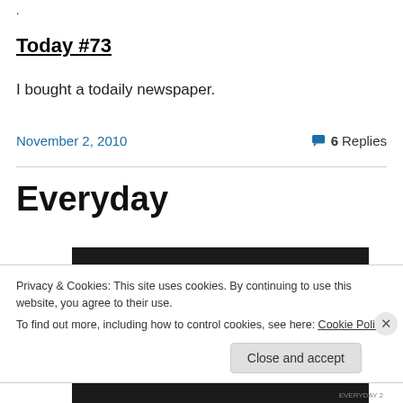.
Today #73
I bought a todaily newspaper.
November 2, 2010
6 Replies
Everyday
[Figure (photo): Dark photograph strip partially visible]
Privacy & Cookies: This site uses cookies. By continuing to use this website, you agree to their use.
To find out more, including how to control cookies, see here: Cookie Policy
Close and accept